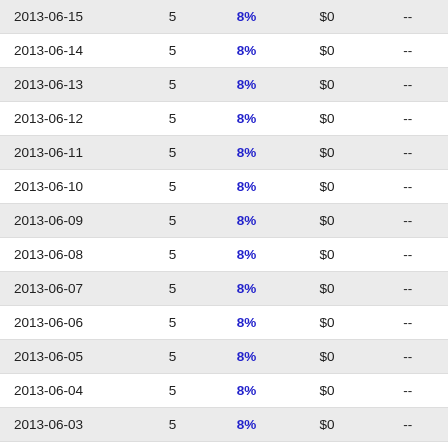| 2013-06-15 | 5 | 8% | $0 | -- |
| 2013-06-14 | 5 | 8% | $0 | -- |
| 2013-06-13 | 5 | 8% | $0 | -- |
| 2013-06-12 | 5 | 8% | $0 | -- |
| 2013-06-11 | 5 | 8% | $0 | -- |
| 2013-06-10 | 5 | 8% | $0 | -- |
| 2013-06-09 | 5 | 8% | $0 | -- |
| 2013-06-08 | 5 | 8% | $0 | -- |
| 2013-06-07 | 5 | 8% | $0 | -- |
| 2013-06-06 | 5 | 8% | $0 | -- |
| 2013-06-05 | 5 | 8% | $0 | -- |
| 2013-06-04 | 5 | 8% | $0 | -- |
| 2013-06-03 | 5 | 8% | $0 | -- |
| 2013-06-02 | 5 | 8% | $0 | -- |
| 2013-06-01 | 5 | 8% | $0 | -- |
| 2013-05-31 | 5 | 8% | $0 | -- |